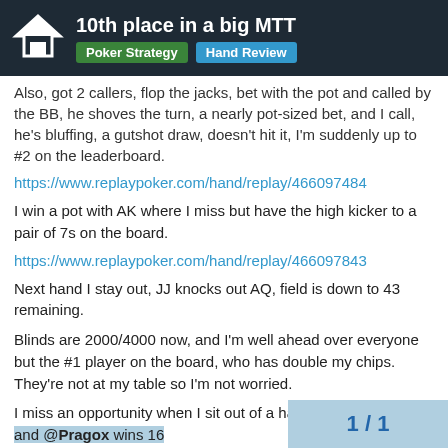10th place in a big MTT | Poker Strategy | Hand Review
Also, got 2 callers, flop the jacks, bet with the pot and called by the BB, he shoves the turn, a nearly pot-sized bet, and I call, he's bluffing, a gutshot draw, doesn't hit it, I'm suddenly up to #2 on the leaderboard.
https://www.replaypoker.com/hand/replay/466097484
I win a pot with AK where I miss but have the high kicker to a pair of 7s on the board.
https://www.replaypoker.com/hand/replay/466097843
Next hand I stay out, JJ knocks out AQ, field is down to 43 remaining.
Blinds are 2000/4000 now, and I'm well ahead over everyone but the #1 player on the board, who has double my chips. They're not at my table so I'm not worried.
I miss an opportunity when I sit out of a ha... brings 2 more Jacks and @Pragox wins 16...
1 / 1